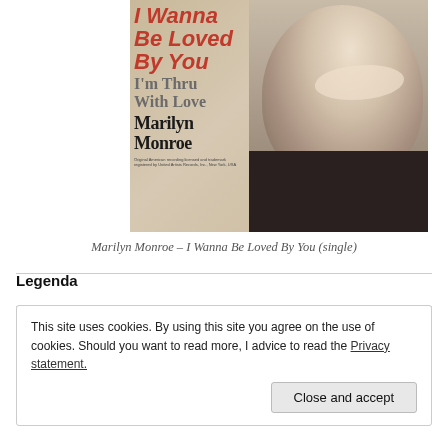[Figure (photo): Record single cover for Marilyn Monroe - I Wanna Be Loved By You (single). Shows text 'I Wanna Be Loved By You' in red, 'I'm Thru With Love' in grey, 'Marilyn Monroe' in black bold, alongside a black and white photo of Marilyn Monroe smiling.]
Marilyn Monroe – I Wanna Be Loved By You (single)
Legenda
This site uses cookies. By using this site you agree on the use of cookies. Should you want to read more, I advice to read the Privacy statement.
Close and accept